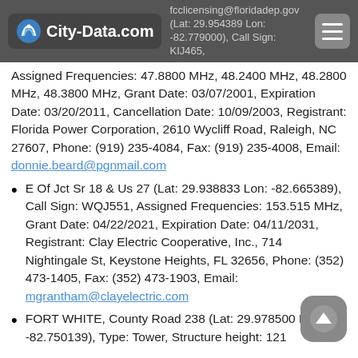City-Data.com — fcclicensing@floridadep.gov, Lat: 29.954389 Lon: -82.779000
Assigned Frequencies: 47.8800 MHz, 48.2400 MHz, 48.2800 MHz, 48.3800 MHz, Grant Date: 03/07/2001, Expiration Date: 03/20/2011, Cancellation Date: 10/09/2003, Registrant: Florida Power Corporation, 2610 Wycliff Road, Raleigh, NC 27607, Phone: (919) 235-4084, Fax: (919) 235-4008, Email: donnie.beard@pgnmail.com
E Of Jct Sr 18 & Us 27 (Lat: 29.938833 Lon: -82.665389), Call Sign: WQJ551, Assigned Frequencies: 153.515 MHz, Grant Date: 04/22/2021, Expiration Date: 04/11/2031, Registrant: Clay Electric Cooperative, Inc., 714 Nightingale St, Keystone Heights, FL 32656, Phone: (352) 473-1405, Fax: (352) 473-1903, Email: mgrantham@clayelectric.com
FORT WHITE, County Road 238 (Lat: 29.978500 Lon: -82.750139), Type: Tower, Structure height: 121